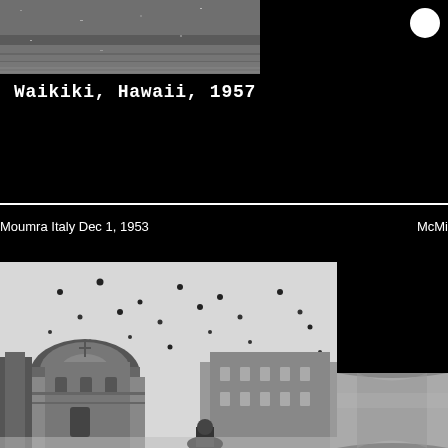[Figure (photo): Black and white photograph, top portion of an aerial or landscape scene, Waikiki Hawaii 1957]
Waikiki, Hawaii, 1957
Moumra Italy Dec 1, 1953
McMi
[Figure (photo): Black and white photograph showing a European cityscape with dome and historic buildings, birds or objects scattered in sky, Italy 1953]
[Figure (photo): Partial photograph on right side, appears to show interior or curved surface]